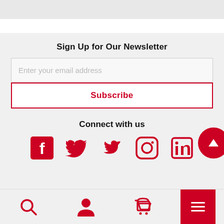Sign Up for Our Newsletter
Enter your email address
Subscribe
Connect with us
[Figure (infographic): Social media icons: Facebook, Twitter, Instagram, LinkedIn]
Search, Account, Cart, Menu navigation bar